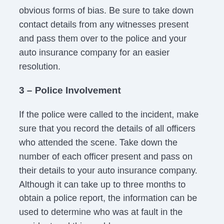obvious forms of bias. Be sure to take down contact details from any witnesses present and pass them over to the police and your auto insurance company for an easier resolution.
3 – Police Involvement
If the police were called to the incident, make sure that you record the details of all officers who attended the scene. Take down the number of each officer present and pass on their details to your auto insurance company. Although it can take up to three months to obtain a police report, the information can be used to determine who was at fault in the accident and this could save you money on any future auto insurance quotes.